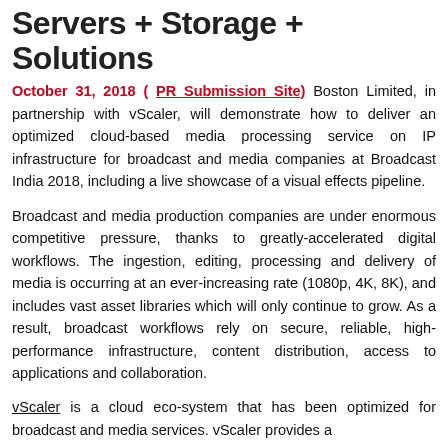Servers + Storage + Solutions
October 31, 2018 ( PR Submission Site) Boston Limited, in partnership with vScaler, will demonstrate how to deliver an optimized cloud-based media processing service on IP infrastructure for broadcast and media companies at Broadcast India 2018, including a live showcase of a visual effects pipeline.
Broadcast and media production companies are under enormous competitive pressure, thanks to greatly-accelerated digital workflows. The ingestion, editing, processing and delivery of media is occurring at an ever-increasing rate (1080p, 4K, 8K), and includes vast asset libraries which will only continue to grow. As a result, broadcast workflows rely on secure, reliable, high-performance infrastructure, content distribution, access to applications and collaboration.
vScaler is a cloud eco-system that has been optimized for broadcast and media services. vScaler provides a